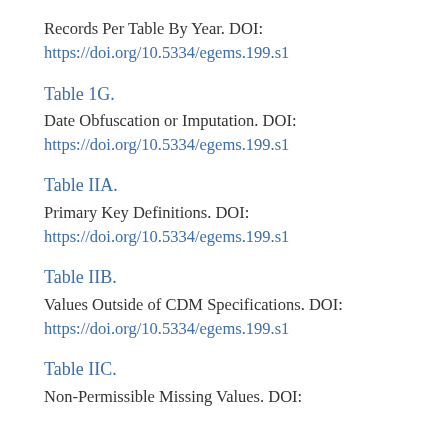Records Per Table By Year. DOI:
https://doi.org/10.5334/egems.199.s1
Table 1G.
Date Obfuscation or Imputation. DOI:
https://doi.org/10.5334/egems.199.s1
Table IIA.
Primary Key Definitions. DOI:
https://doi.org/10.5334/egems.199.s1
Table IIB.
Values Outside of CDM Specifications. DOI:
https://doi.org/10.5334/egems.199.s1
Table IIC.
Non-Permissible Missing Values. DOI: